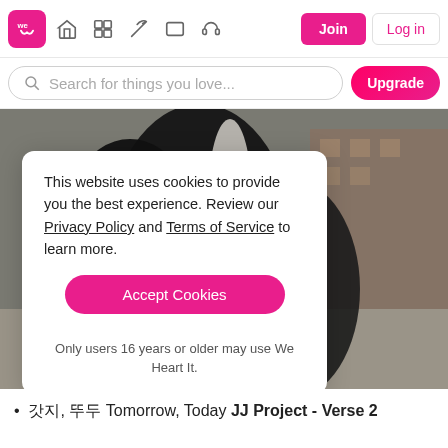We Heart It navigation bar with logo, icons, Join and Log in buttons
Search for things you love...
[Figure (screenshot): Photo of a person in a dark coat against an urban background]
This website uses cookies to provide you the best experience. Review our Privacy Policy and Terms of Service to learn more.

Accept Cookies

Only users 16 years or older may use We Heart It.
갓지, 뚜두 Tomorrow, Today JJ Project - Verse 2